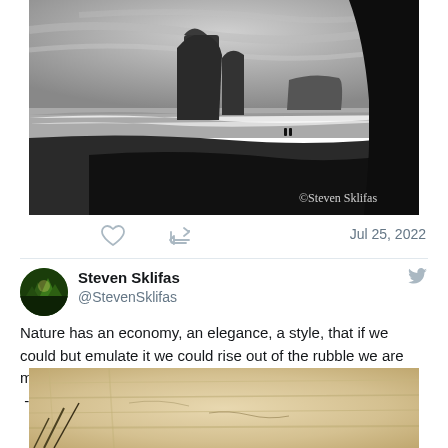[Figure (photo): Black and white landscape photo of a beach with large rock formations and cliffs, watermarked '©Steven Sklifas']
Jul 25, 2022
Steven Sklifas
@StevenSklifas
Nature has an economy, an elegance, a style, that if we could but emulate it we could rise out of the rubble we are making out of the planet.
 - Terence McKenna.
[Figure (photo): Partial view of a sepia/aged looking wooden surface or old paper texture]